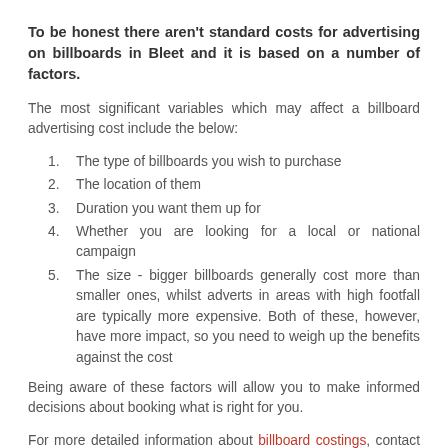To be honest there aren't standard costs for advertising on billboards in Bleet and it is based on a number of factors.
The most significant variables which may affect a billboard advertising cost include the below:
The type of billboards you wish to purchase
The location of them
Duration you want them up for
Whether you are looking for a local or national campaign
The size - bigger billboards generally cost more than smaller ones, whilst adverts in areas with high footfall are typically more expensive. Both of these, however, have more impact, so you need to weigh up the benefits against the cost
Being aware of these factors will allow you to make informed decisions about booking what is right for you.
For more detailed information about billboard costings, contact us directly or you can read our costs page which goes into more specialist and professional detail.